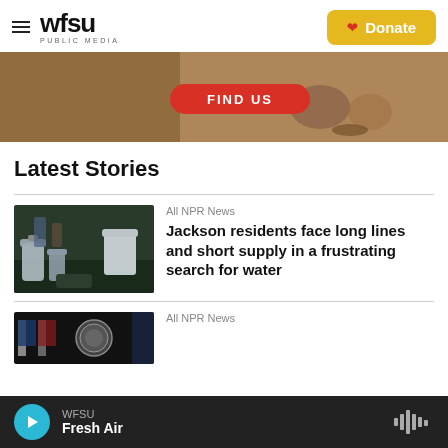WFSU PUBLIC MEDIA — Donate
[Figure (photo): Banner image with a red 'FIND US' button pill on a brown/earth-tone background showing people kneeling]
Latest Stories
[Figure (photo): Thumbnail photo of water jugs and containers on the ground, people filling water in dim lighting]
All NPR News
Jackson residents face long lines and short supply in a frustrating search for water
[Figure (photo): Thumbnail photo showing a dark background with flags and a government seal]
All NPR News
WFSU Fresh Air — audio player bar